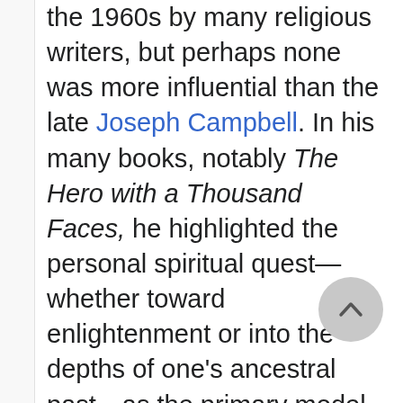the 1960s by many religious writers, but perhaps none was more influential than the late Joseph Campbell. In his many books, notably The Hero with a Thousand Faces, he highlighted the personal spiritual quest—whether toward enlightenment or into the depths of one's ancestral past—as the primary model for modern religiosity. He emphasized the individual nature of the quest, the necessity for conquering obstacles, and the importance of receptivity to a higher